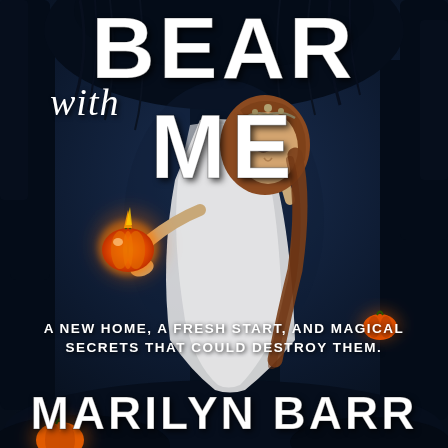[Figure (illustration): Book cover illustration: A woman in a white flowing cape/dress holding a glowing orange pumpkin in a dark forest. She wears a crown and has her eyes closed. Large dark wings or bear fur loom behind her. Additional glowing pumpkins appear in the background. Dark blue-night forest atmosphere.]
BEAR with ME
A NEW HOME, A FRESH START, AND MAGICAL SECRETS THAT COULD DESTROY THEM.
MARILYN BARR